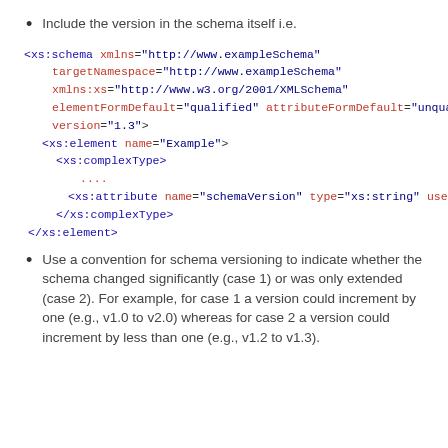Include the version in the schema itself i.e.
<xs:schema xmlns="http://www.exampleSchema"
    targetNamespace="http://www.exampleSchema"
    xmlns:xs="http://www.w3.org/2001/XMLSchema"
    elementFormDefault="qualified" attributeFormDefault="unqualified"
    version="1.3">
  <xs:element name="Example">
    <xs:complexType>
      ....
      <xs:attribute name="schemaVersion" type="xs:string" use="required"/>
    </xs:complexType>
  </xs:element>
</xs:element>
Use a convention for schema versioning to indicate whether the schema changed significantly (case 1) or was only extended (case 2). For example, for case 1 a version could increment by one (e.g., v1.0 to v2.0) whereas for case 2 a version could increment by less than one (e.g., v1.2 to v1.3).